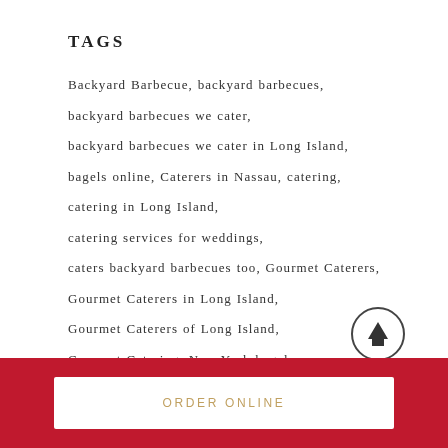TAGS
Backyard Barbecue, backyard barbecues, backyard barbecues we cater, backyard barbecues we cater in Long Island, bagels online, Caterers in Nassau, catering, catering in Long Island, catering services for weddings, caters backyard barbecues too, Gourmet Caterers, Gourmet Caterers in Long Island, Gourmet Caterers of Long Island, Gourmet Catering, New York bagel,
[Figure (other): Scroll-to-top button: circle with upward arrow]
ORDER ONLINE